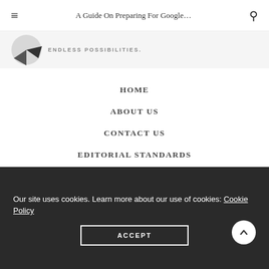A Guide On Preparing For Google...
[Figure (logo): Partial circular logo graphic with ENDLESS POSSIBILITIES. text]
HOME
ABOUT US
CONTACT US
EDITORIAL STANDARDS
NEWSLETTER
TERMS OF USE
ABOUT OUR ADS
PRIVACY POLICY
Our site uses cookies. Learn more about our use of cookies: Cookie Policy
ACCEPT